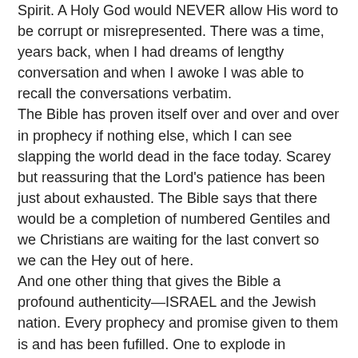Spirit. A Holy God would NEVER allow His word to be corrupt or misrepresented. There was a time, years back, when I had dreams of lengthy conversation and when I awoke I was able to recall the conversations verbatim.
The Bible has proven itself over and over and over in prophecy if nothing else, which I can see slapping the world dead in the face today. Scarey but reassuring that the Lord’s patience has been just about exhausted. The Bible says that there would be a completion of numbered Gentiles and we Christians are waiting for the last convert so we can the Hey out of here.
And one other thing that gives the Bible a profound authenticity—ISRAEL and the Jewish nation. Every prophecy and promise given to them is and has been fufilled. One to explode in prophecy is that the dry bones of the house of Israel would come back to life. And that a nation would born in one day. May